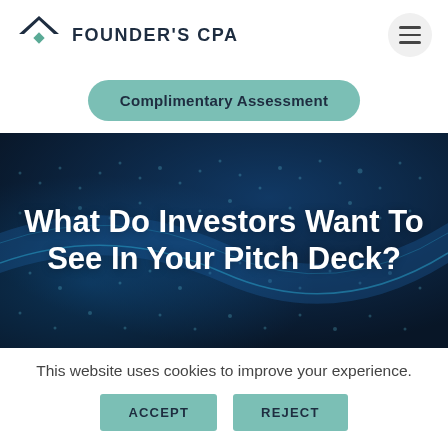FOUNDER'S CPA
Complimentary Assessment
[Figure (photo): Dark blue abstract technology background with glowing dots and wave patterns]
What Do Investors Want To See In Your Pitch Deck?
This website uses cookies to improve your experience.
ACCEPT
REJECT